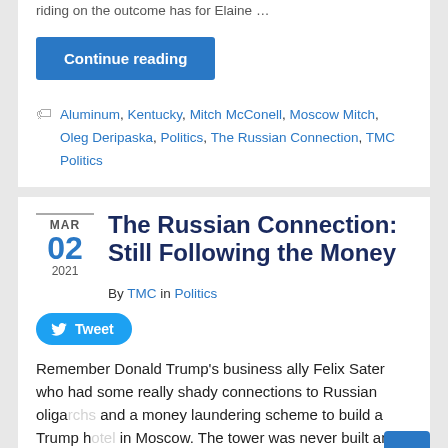riding on the outcome has for Elaine...
Continue reading
Tags: Aluminum, Kentucky, Mitch McConell, Moscow Mitch, Oleg Deripaska, Politics, The Russian Connection, TMC Politics
The Russian Connection: Still Following the Money
By TMC in Politics
Tweet
Remember Donald Trump's business ally Felix Sater who had some really shady connections to Russian oligarchs and a money laundering scheme to build a Trump hotel in Moscow. The tower was never built and questions remain...